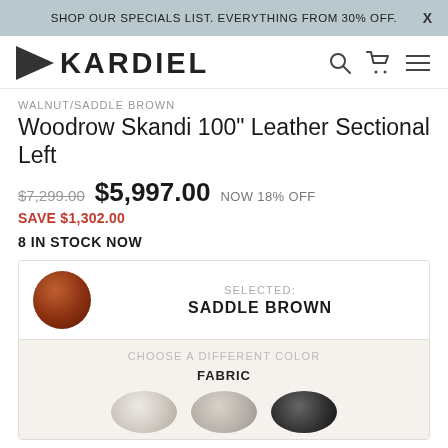SHOP OUR SPECIALS LIST. EVERYTHING FROM 30% OFF.   X
[Figure (logo): Kardiel logo with black triangle arrow pointing right and KARDIEL text]
WALNUT/SADDLE BROWN
Woodrow Skandi 100" Leather Sectional Left
$7,299.00  $5,997.00  NOW 18% OFF
SAVE $1,302.00
8 IN STOCK NOW
SELECTED: SADDLE BROWN
CHOOSE A DIFFERENT COLOR
FABRIC